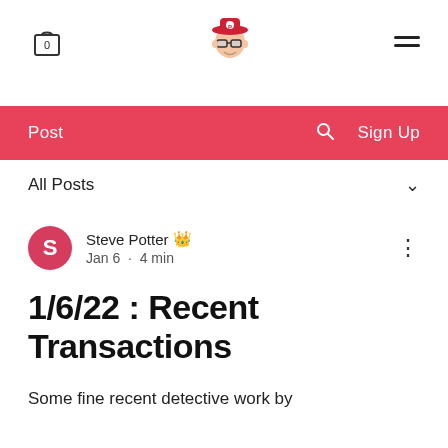0 [cart] [logo avatar] [hamburger menu]
Post  🔍  Sign Up
All Posts ∨
Steve Potter 👑  Jan 6 · 4 min
1/6/22 : Recent Transactions
Some fine recent detective work by